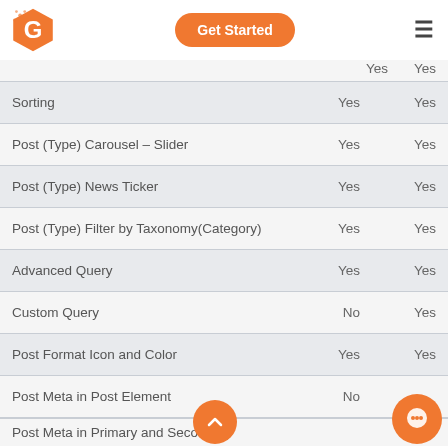Get Started
| Feature | Col1 | Col2 |
| --- | --- | --- |
| Sorting | Yes | Yes |
| Post (Type) Carousel – Slider | Yes | Yes |
| Post (Type) News Ticker | Yes | Yes |
| Post (Type) Filter by Taxonomy(Category) | Yes | Yes |
| Advanced Query | Yes | Yes |
| Custom Query | No | Yes |
| Post Format Icon and Color | Yes | Yes |
| Post Meta in Post Element | No |  |
| Post Meta in Primary and Secondary |  |  |